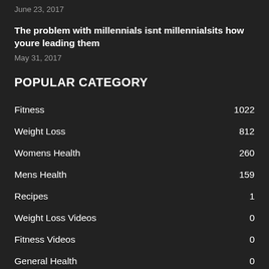June 23, 2017
The problem with millennials isnt millennialsits how youre leading them
May 31, 2017
POPULAR CATEGORY
Fitness 1022
Weight Loss 812
Womens Health 260
Mens Health 159
Recipes 1
Weight Loss Videos 0
Fitness Videos 0
General Health 0